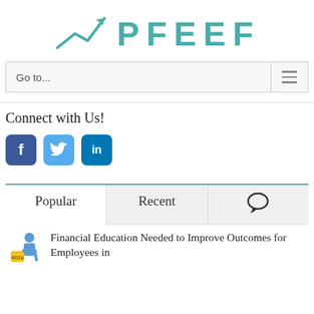[Figure (logo): PFEEF logo with upward arrow/chart icon in teal color]
Go to...
Connect with Us!
[Figure (infographic): Social media icons: Facebook (dark blue f), Twitter (light blue bird), LinkedIn (teal in)]
Popular | Recent | (chat icon)
Financial Education Needed to Improve Outcomes for Employees in